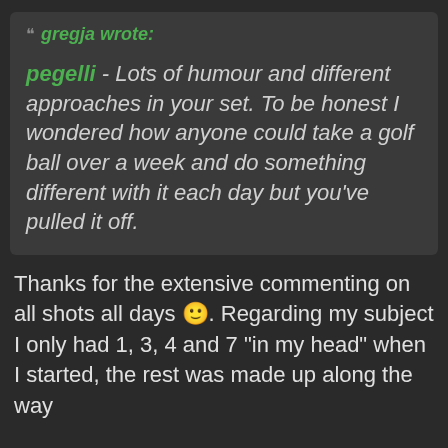gregja wrote:
pegelli - Lots of humour and different approaches in your set. To be honest I wondered how anyone could take a golf ball over a week and do something different with it each day but you've pulled it off.
Thanks for the extensive commenting on all shots all days 🙂. Regarding my subject I only had 1, 3, 4 and 7 "in my head" when I started, the rest was made up along the way